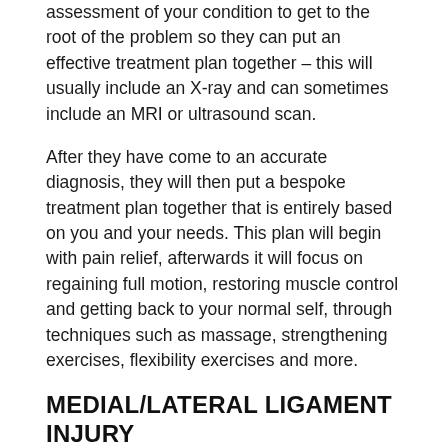assessment of your condition to get to the root of the problem so they can put an effective treatment plan together – this will usually include an X-ray and can sometimes include an MRI or ultrasound scan.
After they have come to an accurate diagnosis, they will then put a bespoke treatment plan together that is entirely based on you and your needs. This plan will begin with pain relief, afterwards it will focus on regaining full motion, restoring muscle control and getting back to your normal self, through techniques such as massage, strengthening exercises, flexibility exercises and more.
MEDIAL/LATERAL LIGAMENT INJURY
Medial and lateral injuries are very similar, although the latter impacts the cartilage tissue that is located at the outer aspect of the knee whereas medial ligament injury affects the cartilage tissue that is situated at the inner aspect of the knee. Medial ligament injuries are the more common of the two.